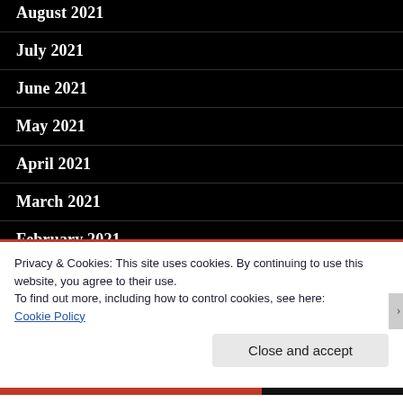August 2021
July 2021
June 2021
May 2021
April 2021
March 2021
February 2021
January 2021
December 2020
Privacy & Cookies: This site uses cookies. By continuing to use this website, you agree to their use.
To find out more, including how to control cookies, see here:
Cookie Policy
Close and accept